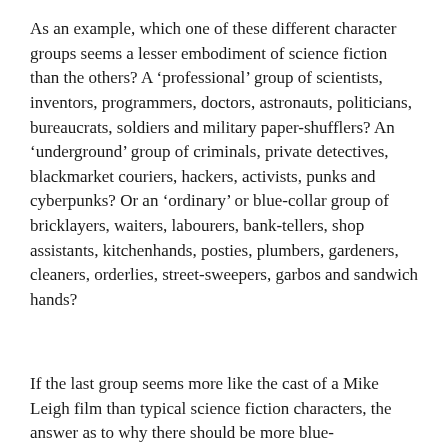As an example, which one of these different character groups seems a lesser embodiment of science fiction than the others? A ‘professional’ group of scientists, inventors, programmers, doctors, astronauts, politicians, bureaucrats, soldiers and military paper-shufflers? An ‘underground’ group of criminals, private detectives, blackmarket couriers, hackers, activists, punks and cyberpunks? Or an ‘ordinary’ or blue-collar group of bricklayers, waiters, labourers, bank-tellers, shop assistants, kitchenhands, posties, plumbers, gardeners, cleaners, orderlies, street-sweepers, garbos and sandwich hands?
If the last group seems more like the cast of a Mike Leigh film than typical science fiction characters, the answer as to why there should be more blue-